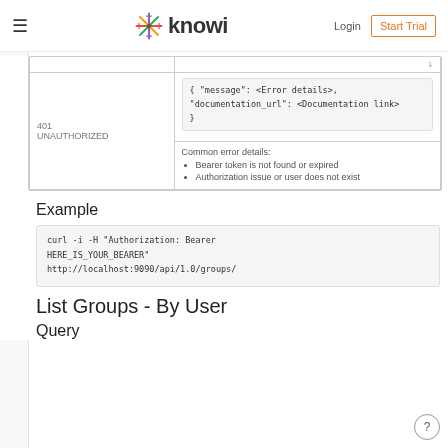knowi — Login | Start Trial
|  |  |
| --- | --- |
|  | { "message": <Error details>,
"documentation_url": <Documentation link>
} |
| 401
UNAUTHORIZED | Common error details:
• Bearer token is not found or expired
• Authorization issue or user does not exist |
Example
curl -i -H "Authorization: Bearer
HERE_IS_YOUR_BEARER"
http://localhost:9090/api/1.0/groups/
List Groups - By User
Query